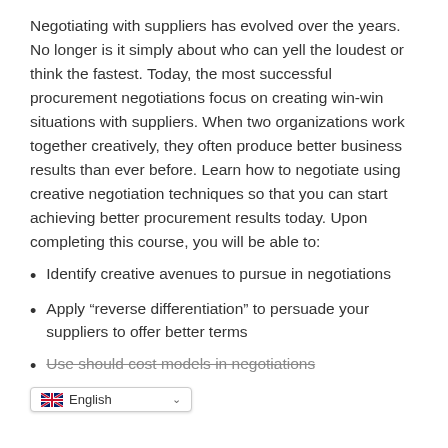Negotiating with suppliers has evolved over the years. No longer is it simply about who can yell the loudest or think the fastest. Today, the most successful procurement negotiations focus on creating win-win situations with suppliers. When two organizations work together creatively, they often produce better business results than ever before. Learn how to negotiate using creative negotiation techniques so that you can start achieving better procurement results today. Upon completing this course, you will be able to:
Identify creative avenues to pursue in negotiations
Apply “reverse differentiation” to persuade your suppliers to offer better terms
Use should cost models in negotiations